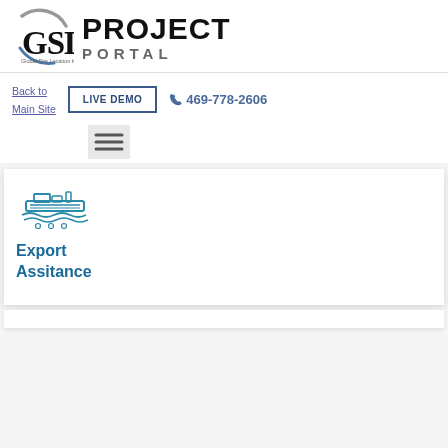[Figure (logo): GSLI Project Portal logo — circular arc emblem with GSLI letters and 'Global Site Location Industries, LLC' subtitle, next to bold PROJECT PORTAL text]
Back to Main Site
LIVE DEMO
469-778-2606
[Figure (illustration): Hamburger menu icon (three horizontal lines) on a light grey background]
[Figure (illustration): Cargo ship / export icon in teal/blue outline style]
Export Assitance